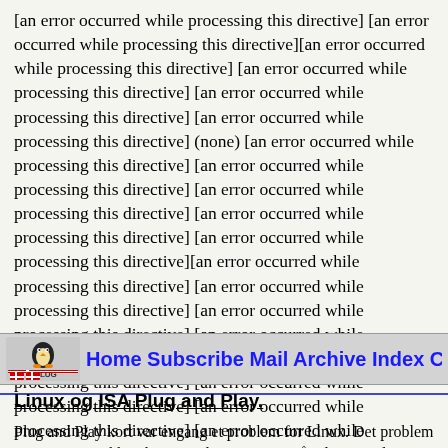[an error occurred while processing this directive] [an error occurred while processing this directive][an error occurred while processing this directive] [an error occurred while processing this directive] [an error occurred while processing this directive] [an error occurred while processing this directive] (none) [an error occurred while processing this directive] [an error occurred while processing this directive] [an error occurred while processing this directive] [an error occurred while processing this directive] [an error occurred while processing this directive][an error occurred while processing this directive] [an error occurred while processing this directive] [an error occurred while processing this directive] [an error occurred while processing this directive][an error occurred while processing this directive] [an error occurred while processing this directive] [an error occurred while processing this directive] [an error occurred while processing this directive] [an error occurred while processing this directive] (none) [an error occurred while processing this directive] [an error occurred while processing this directive] [an error occurred while processing this directive] [an error occurred while processing this directive] [an error occurred while processing this directive][an error occurred while processing this directive]
[Figure (logo): SSLUG logo with Linux penguin and Danish flag]
Home Subscribe Mail Archive Index Calen
Linux og ISA Plug and Play.
Plug and Play kort var engang et problem for Linux. Det problem er nu stort set ikke-eksisterende, men man må selv sætte dem op til